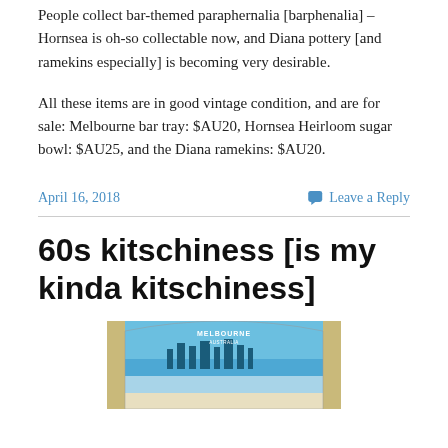People collect bar-themed paraphernalia [barphenalia] – Hornsea is oh-so collectable now, and Diana pottery [and ramekins especially] is becoming very desirable.
All these items are in good vintage condition, and are for sale: Melbourne bar tray: $AU20, Hornsea Heirloom sugar bowl: $AU25, and the Diana ramekins: $AU20.
April 16, 2018
Leave a Reply
60s kitschiness [is my kinda kitschiness]
[Figure (photo): Photo of a Melbourne Australia souvenir bar tray with blue skyline image]